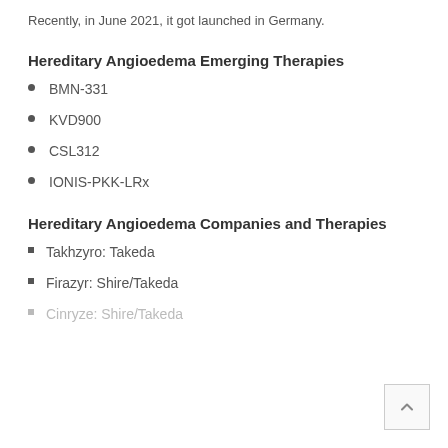Recently, in June 2021, it got launched in Germany.
Hereditary Angioedema Emerging Therapies
BMN-331
KVD900
CSL312
IONIS-PKK-LRx
Hereditary Angioedema Companies and Therapies
Takhzyro: Takeda
Firazyr: Shire/Takeda